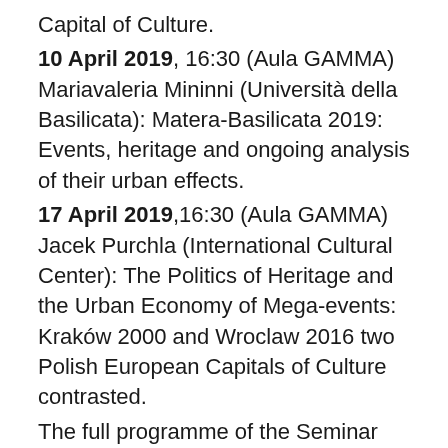Capital of Culture.
10 April 2019, 16:30 (Aula GAMMA) Mariavaleria Mininni (Università della Basilicata): Matera-Basilicata 2019: Events, heritage and ongoing analysis of their urban effects.
17 April 2019,16:30 (Aula GAMMA) Jacek Purchla (International Cultural Center): The Politics of Heritage and the Urban Economy of Mega-events: Kraków 2000 and Wroclaw 2016 two Polish European Capitals of Culture contrasted.
The full programme of the Seminar Series with the abstracts of the talks